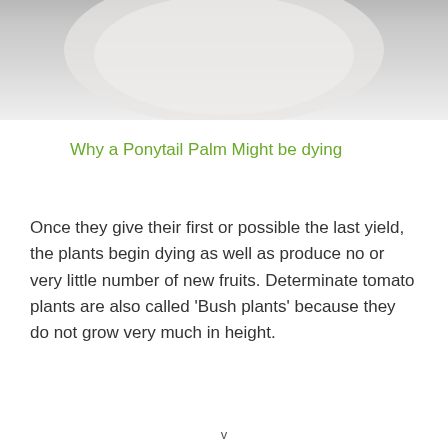[Figure (photo): Top portion of an image showing a light gray background with a rounded/oval shape visible, likely a plant or pot partially cropped at the top of the page.]
Why a Ponytail Palm Might be dying
Once they give their first or possible the last yield, the plants begin dying as well as produce no or very little number of new fruits. Determinate tomato plants are also called ‘Bush plants’ because they do not grow very much in height.
v